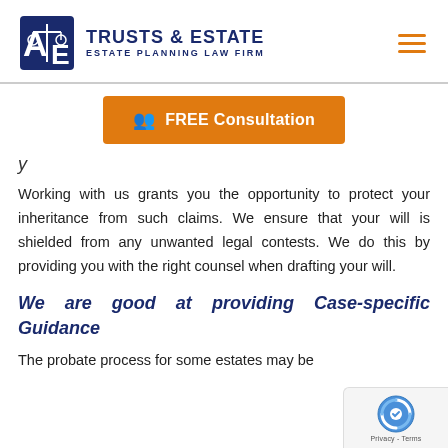TRUSTS & ESTATE | ESTATE PLANNING LAW FIRM
[Figure (logo): Trusts & Estate law firm logo with scales of justice icon and navigation hamburger menu]
FREE Consultation
y
Working with us grants you the opportunity to protect your inheritance from such claims. We ensure that your will is shielded from any unwanted legal contests. We do this by providing you with the right counsel when drafting your will.
We are good at providing Case-specific Guidance
The probate process for some estates may be